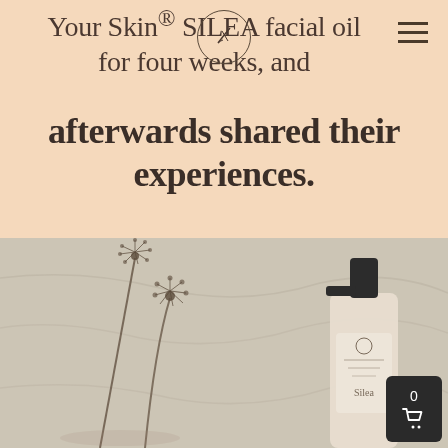Your Skin® SILEA facial oil for four weeks, and afterwards shared their experiences.
[Figure (photo): Product lifestyle photo showing SILEA facial oil bottle lying on white linen fabric next to dried dandelion stems. A cart button overlay with '0' appears in lower right corner.]